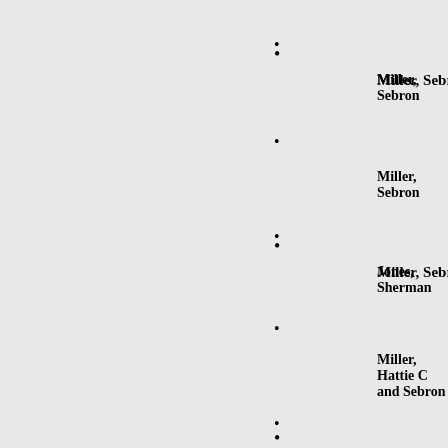• Miller, Sebron
• Miller, Sebron
• Jones, Sherman
• Miller, Hattie C and Sebron
• Miller, Sebron
•